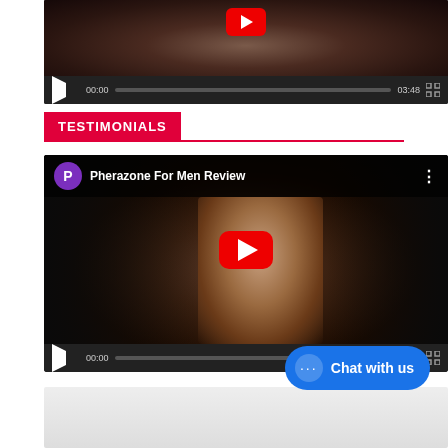[Figure (screenshot): Video player showing a woman in black jacket, with playback controls showing 00:00 and duration 03:48]
TESTIMONIALS
[Figure (screenshot): YouTube video embed titled 'Pherazone For Men Review' with a man sitting in front of a brick wall, large red play button in center, playback controls showing 00:00]
[Figure (screenshot): Partial view of a third video player at the bottom]